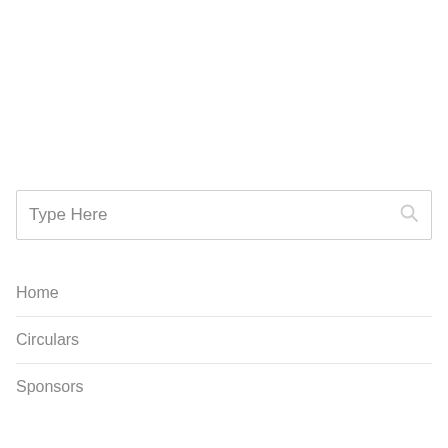[Figure (screenshot): Search input box with placeholder text 'Type Here' and a search icon on the right]
Home
Circulars
Sponsors